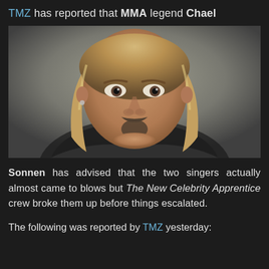TMZ has reported that MMA legend Chael
[Figure (photo): Mugshot-style photo of a man with long blonde/brown hair, goatee, wearing a patterned shirt and necklace, looking directly at camera against a neutral background.]
Sonnen has advised that the two singers actually almost came to blows but The New Celebrity Apprentice crew broke them up before things escalated.
The following was reported by TMZ yesterday: